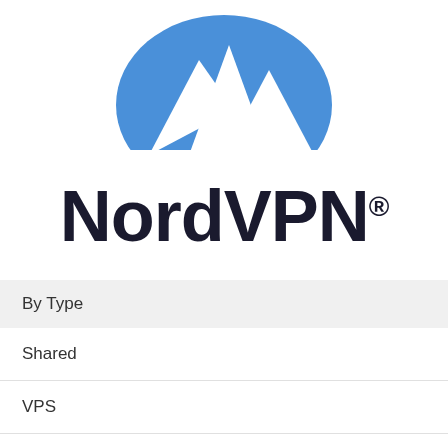[Figure (logo): NordVPN logo: blue shield/mountain shape icon with white mountain peaks, above the text NordVPN with registered trademark symbol]
NordVPN®
By Type
Shared
VPS
Dedicated
Reseller